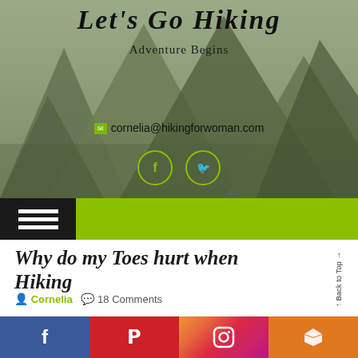Let's Go Hiking
Adventure Begins
cornelia@hikingforwoman.com
[Figure (illustration): Mountain background photo with olive/green tones]
Why do my Toes hurt when Hiking
Cornelia  18 Comments
Hiking is fun but when your toes and feet hurt it can give a whole new perspective on how far is too far and if the effort is worth the beautiful view or the accomplishment of
Social share bar: Facebook, Pinterest, Instagram, Share